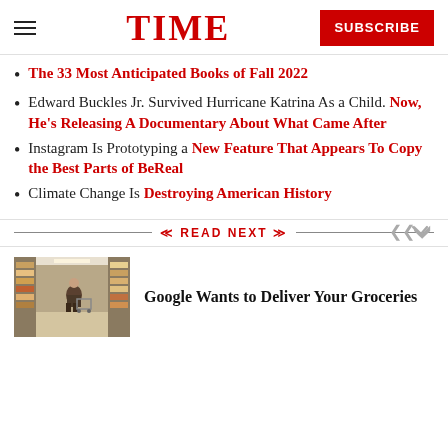TIME — SUBSCRIBE
The 33 Most Anticipated Books of Fall 2022
Edward Buckles Jr. Survived Hurricane Katrina As a Child. Now, He's Releasing A Documentary About What Came After
Instagram Is Prototyping a New Feature That Appears To Copy the Best Parts of BeReal
Climate Change Is Destroying American History
READ NEXT
Google Wants to Deliver Your Groceries